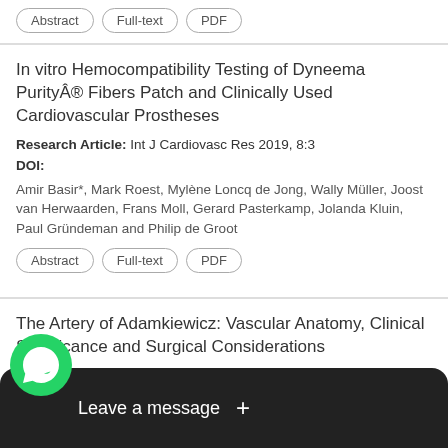Abstract | Full-text | PDF (buttons)
In vitro Hemocompatibility Testing of Dyneema Purity® Fibers Patch and Clinically Used Cardiovascular Prostheses
Research Article: Int J Cardiovasc Res 2019, 8:3
DOI:
Amir Basir*, Mark Roest, Mylène Loncq de Jong, Wally Müller, Joost van Herwaarden, Frans Moll, Gerard Pasterkamp, Jolanda Kluin, Paul Gründeman and Philip de Groot
Abstract | Full-text | PDF (buttons)
The Artery of Adamkiewicz: Vascular Anatomy, Clinical Significance and Surgical Considerations
Review Article: Int J Cardiovas Res 2016,5:6
DOI: 10.4172/2324-8602.1000284
opher L Hoehmann, Kyle Hitscherich and Joshua A